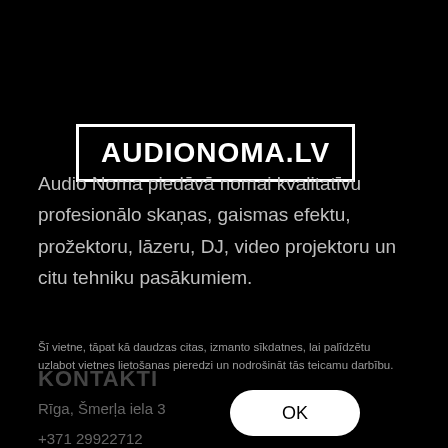AUDIONOMA.LV
Audio Noma piedāvā nomai kvalitatīvu profesionālo skaņas, gaismas efektu, prožektoru, lāzeru, DJ, video projektoru un citu tehniku pasākumiem.
Šī vietne, tāpat kā daudzas citas, izmanto sīkdatnes, lai palīdzētu uzlabot vietnes lietošanas pieredzi un nodrošināt tās teicamu darbību.
KONTAKTI
Rīga, Šmerļa iela 3
OK
+371 29922712